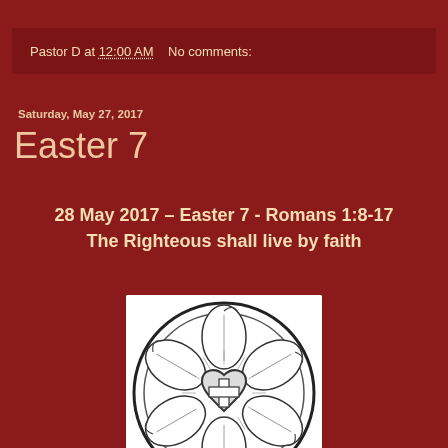Pastor D at 12:00 AM    No comments:
Saturday, May 27, 2017
Easter 7
28 May 2017 – Easter 7 - Romans 1:8-17
The Righteous shall live by faith
[Figure (illustration): Luther Rose symbol — a black and white illustration of the Lutheran rose (Luther seal) featuring a cross on a heart at center, surrounded by white rose petals, inscribed in a circle with decorative border]